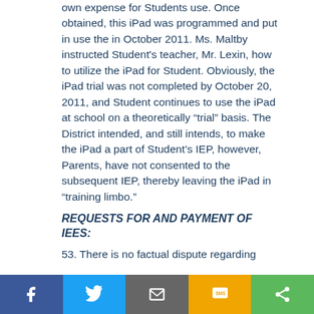own expense for Students use. Once obtained, this iPad was programmed and put in use the in October 2011. Ms. Maltby instructed Student's teacher, Mr. Lexin, how to utilize the iPad for Student. Obviously, the iPad trial was not completed by October 20, 2011, and Student continues to use the iPad at school on a theoretically “trial” basis. The District intended, and still intends, to make the iPad a part of Student's IEP, however, Parents, have not consented to the subsequent IEP, thereby leaving the iPad in “training limbo.”
REQUESTS FOR AND PAYMENT OF IEES:
53. There is no factual dispute regarding